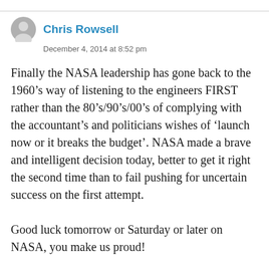Chris Rowsell
December 4, 2014 at 8:52 pm
Finally the NASA leadership has gone back to the 1960’s way of listening to the engineers FIRST rather than the 80’s/90’s/00’s of complying with the accountant’s and politicians wishes of ‘launch now or it breaks the budget’. NASA made a brave and intelligent decision today, better to get it right the second time than to fail pushing for uncertain success on the first attempt.

Good luck tomorrow or Saturday or later on NASA, you make us proud!